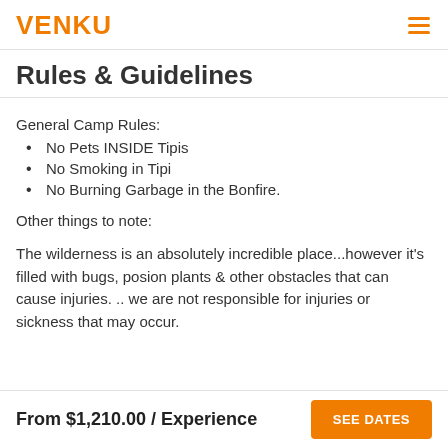VENKU
Rules & Guidelines
General Camp Rules:
No Pets INSIDE Tipis
No Smoking in Tipi
No Burning Garbage in the Bonfire.
Other things to note:
The wilderness is an absolutely incredible place...however it's filled with bugs, posion plants & other obstacles that can cause injuries. .. we are not responsible for injuries or sickness that may occur.
From $1,210.00 / Experience  SEE DATES